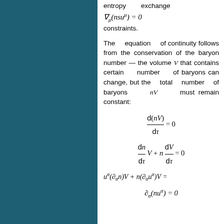entropy exchange ∇_μ(nsu^μ) = 0 constraints.
The equation of continuity follows from the conservation of the baryon number — the volume V that contains certain number of baryons can change, but the total number of baryons nV must remain constant: